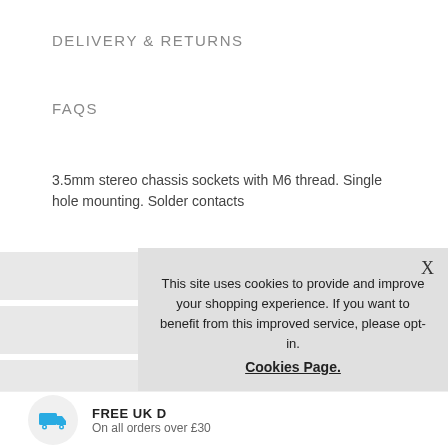DELIVERY & RETURNS
FAQS
3.5mm stereo chassis sockets with M6 thread. Single hole mounting. Solder contacts
[Figure (screenshot): Cookie consent overlay popup with close button (X), message about cookies improving shopping experience, a 'Cookies Page.' link, opt-in text, and 'Accept Cookies' button]
FREE UK D[elivery]
On all orders over £[30]